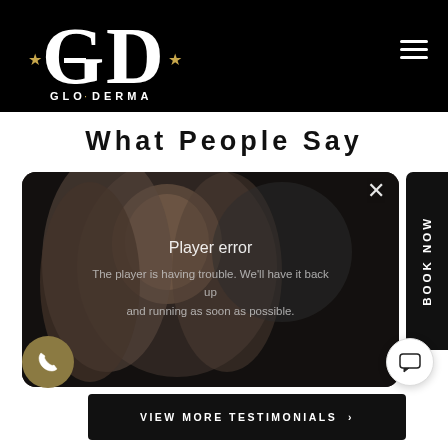[Figure (logo): GLO·DERMA logo - large GD monogram in white on black background with gold stars]
What People Say
[Figure (screenshot): Video player showing a woman with blonde hair and dark eye makeup. Player error overlay reads: 'Player error' / 'The player is having trouble. We'll have it back up and running as soon as possible.' Close (X) button in top right.]
BOOK NOW
VIEW MORE TESTIMONIALS >